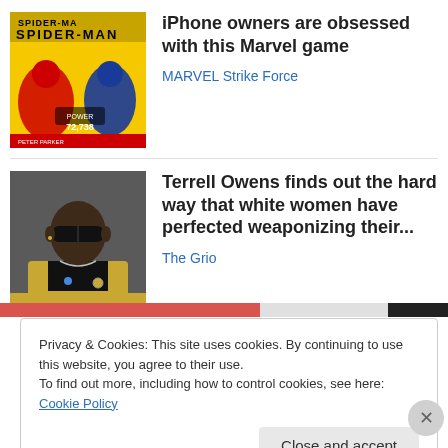[Figure (photo): Spider-Man Marvel game advertisement thumbnail with yellow background]
iPhone owners are obsessed with this Marvel game
MARVEL Strike Force
[Figure (photo): Terrell Owens wearing sunglasses and a gold blazer]
Terrell Owens finds out the hard way that white women have perfected weaponizing their...
The Grio
Privacy & Cookies: This site uses cookies. By continuing to use this website, you agree to their use.
To find out more, including how to control cookies, see here: Cookie Policy